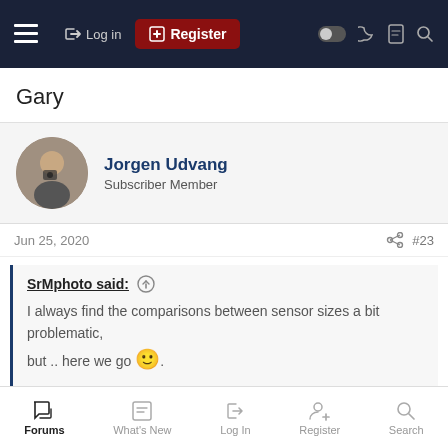≡  → Log in  [+] Register
Gary
Jorgen Udvang
Subscriber Member
Jun 25, 2020  #23
SrMphoto said: ↑

I always find the comparisons between sensor sizes a bit problematic, but .. here we go 🙂.

I like images with a lot of depth-of-field. In order to get the same DOF with my M1.3 and my Z 7, I need to close the aperture of the Z 7 lens
Forums  What's New  Log In  Register  Search